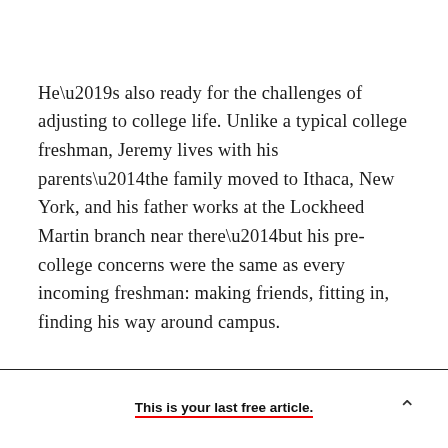He’s also ready for the challenges of adjusting to college life. Unlike a typical college freshman, Jeremy lives with his parents—the family moved to Ithaca, New York, and his father works at the Lockheed Martin branch near there—but his pre-college concerns were the same as every incoming freshman: making friends, fitting in, finding his way around campus.
This is your last free article.